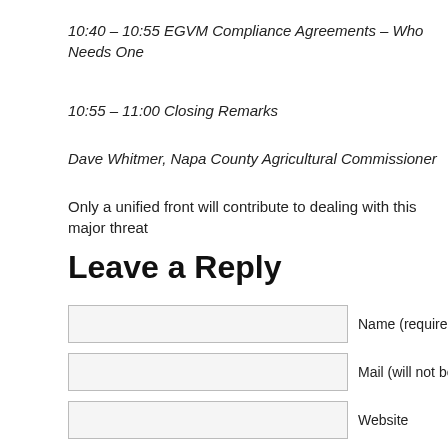10:40 – 10:55 EGVM Compliance Agreements – Who Needs One
10:55 – 11:00 Closing Remarks
Dave Whitmer, Napa County Agricultural Commissioner
Only a unified front will contribute to dealing with this major threat
Leave a Reply